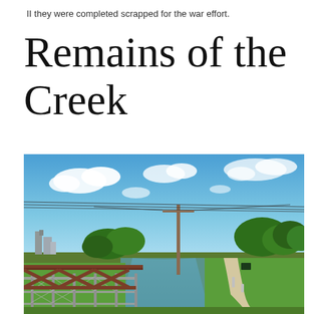II they were completed scrapped for the war effort.
Remains of the Creek
[Figure (photo): Outdoor photograph showing a canal or channelized creek with a metal bridge/railing structure in the foreground left, a utility pole with power lines in the center, a paved trail path on the right side, green grass and trees lining the waterway, a blue sky with white clouds above, and industrial structures visible in the background left.]